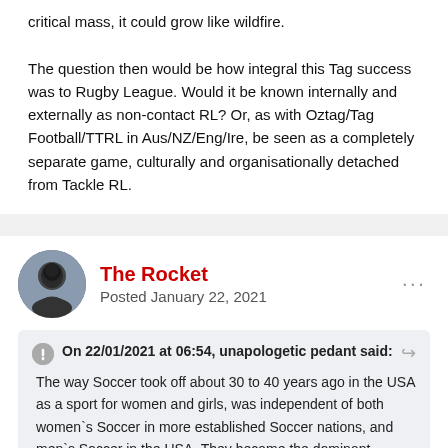critical mass, it could grow like wildfire.

The question then would be how integral this Tag success was to Rugby League. Would it be known internally and externally as non-contact RL? Or, as with Oztag/Tag Football/TTRL in Aus/NZ/Eng/Ire, be seen as a completely separate game, culturally and organisationally detached from Tackle RL.
The Rocket
Posted January 22, 2021
On 22/01/2021 at 06:54, unapologetic pedant said:
The way Soccer took off about 30 to 40 years ago in the USA as a sport for women and girls, was independent of both women`s Soccer in more established Soccer nations, and men`s Soccer in the USA. They became the dominant Women`s nation, despite Soccer remaining domestically obscure.